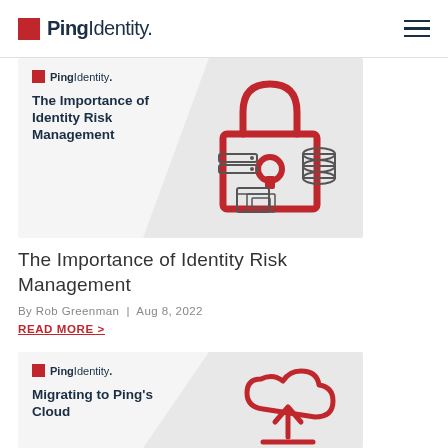PingIdentity.
[Figure (illustration): Ping Identity branded article thumbnail showing a red padlock with database and credential icons, title 'The Importance of Identity Risk Management']
The Importance of Identity Risk Management
By Rob Greenman  |  Aug 8, 2022
READ MORE >
[Figure (illustration): Ping Identity branded article thumbnail showing a red cloud upload icon, title 'Migrating to Ping's Cloud']